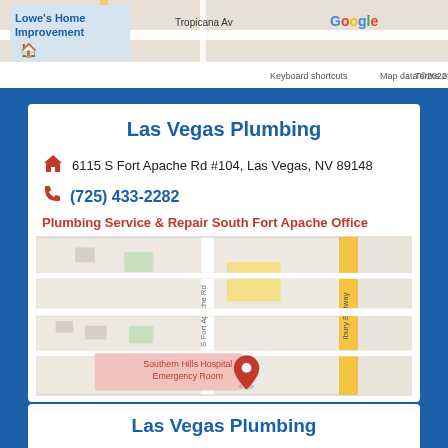[Figure (screenshot): Google Maps screenshot showing Lowe's Home Improvement area near Tropicana Ave with keyboard shortcuts and map data copyright notice]
Las Vegas Plumbing
6115 S Fort Apache Rd #104, Las Vegas, NV 89148
(725) 433-2282
Plumbing Service & Repair South Fort Apache Office
[Figure (map): Google Maps showing area near S Fort Apache Rd with Southern Hills Hospital Emergency Room marker visible, and Ibury Beltway to the right]
Las Vegas Plumbing